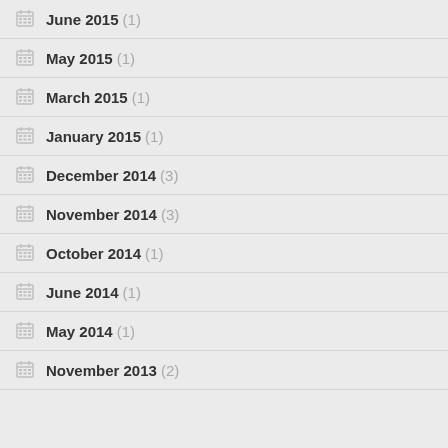June 2015 (1)
May 2015 (1)
March 2015 (1)
January 2015 (1)
December 2014 (3)
November 2014 (3)
October 2014 (1)
June 2014 (1)
May 2014 (1)
November 2013 (2)